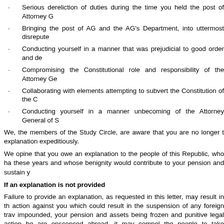Serious dereliction of duties during the time you held the post of Attorney G…
Bringing the post of AG and the AG's Department, into uttermost disrepute…
Conducting yourself in a manner that was prejudicial to good order and de…
Compromising the Constitutional role and responsibility of the Attorney Ge…
Collaborating with elements attempting to subvert the Constitution of the C…
Conducting yourself in a manner unbecoming of the Attorney General of S…
We, the members of the Study Circle, are aware that you are no longer t… explanation expeditiously.
We opine that you owe an explanation to the people of this Republic, who ha… these years and whose benignity would contribute to your pension and sustain y…
If an explanation is not provided
Failure to provide an explanation, as requested in this letter, may result in th… action against you which could result in the suspension of any foreign trav… impounded, your pension and assets being frozen and punitive legal action be… are ensconced abroad, it may compel the people to take measures to have you…
In the absence of your explanation and in the unlikely event of successive Gow… against you, the people shall patiently bide their time until the opportunity is aff… face charges.